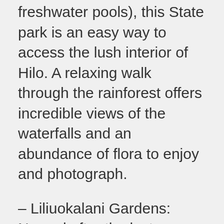freshwater pools), this State park is an easy way to access the lush interior of Hilo. A relaxing walk through the rainforest offers incredible views of the waterfalls and an abundance of flora to enjoy and photograph.
– Liliuokalani Gardens: Named after the last reigning monarch of the Hawaiian Islands, Queen Lydia Liliuokalani, this beautifully landscaped 30-acre Japanese garden features arching bridges over fishponds, rock gardens, pagodas, stone lanterns and more. A peaceful place to stroll around, this garden was dedicated in